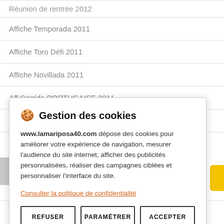Réunion de rentrée 2012
Affiche Temporada 2011
Affiche Toro Défi 2011
Affiche Novillada 2011
Aff Corrida PORTUGAISE 2011
Réunion 26.02.2011
🍪 Gestion des cookies
www.lamariposa40.com dépose des cookies pour améliorer votre expérience de navigation, mesurer l'audience du site internet, afficher des publicités personnalisées, réaliser des campagnes ciblées et personnaliser l'interface du site.
Consulter la politique de confidentialité
REFUSER | PARAMÉTRER | ACCEPTER
Rester connecté